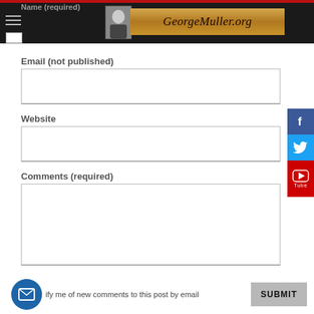[Figure (screenshot): Website header with hamburger menu, George Muller portrait photo thumbnail, and GeorgeMuller.org logo banner on dark background with red top bar]
Name (required)
Email (not published)
Website
Comments (required)
ify me of new comments to this post by email
SUBMIT